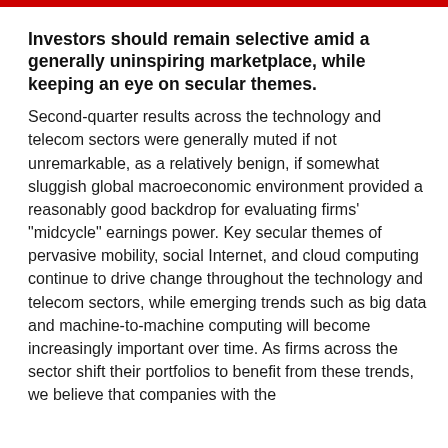Investors should remain selective amid a generally uninspiring marketplace, while keeping an eye on secular themes.
Second-quarter results across the technology and telecom sectors were generally muted if not unremarkable, as a relatively benign, if somewhat sluggish global macroeconomic environment provided a reasonably good backdrop for evaluating firms' "midcycle" earnings power. Key secular themes of pervasive mobility, social Internet, and cloud computing continue to drive change throughout the technology and telecom sectors, while emerging trends such as big data and machine-to-machine computing will become increasingly important over time. As firms across the sector shift their portfolios to benefit from these trends, we believe that companies with the